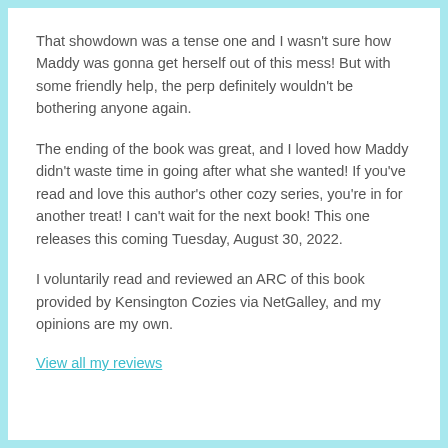That showdown was a tense one and I wasn't sure how Maddy was gonna get herself out of this mess! But with some friendly help, the perp definitely wouldn't be bothering anyone again.
The ending of the book was great, and I loved how Maddy didn't waste time in going after what she wanted! If you've read and love this author's other cozy series, you're in for another treat! I can't wait for the next book! This one releases this coming Tuesday, August 30, 2022.
I voluntarily read and reviewed an ARC of this book provided by Kensington Cozies via NetGalley, and my opinions are my own.
View all my reviews